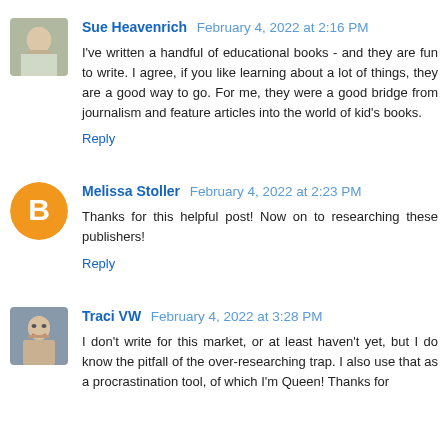Sue Heavenrich  February 4, 2022 at 2:16 PM
I've written a handful of educational books - and they are fun to write. I agree, if you like learning about a lot of things, they are a good way to go. For me, they were a good bridge from journalism and feature articles into the world of kid's books.
Reply
Melissa Stoller  February 4, 2022 at 2:23 PM
Thanks for this helpful post! Now on to researching these publishers!
Reply
Traci VW  February 4, 2022 at 3:28 PM
I don't write for this market, or at least haven't yet, but I do know the pitfall of the over-researching trap. I also use that as a procrastination tool, of which I'm Queen! Thanks for